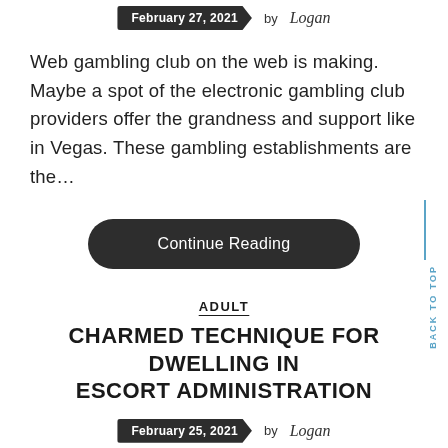February 27, 2021   by Logan
Web gambling club on the web is making. Maybe a spot of the electronic gambling club providers offer the grandness and support like in Vegas. These gambling establishments are the…
Continue Reading
ADULT
CHARMED TECHNIQUE FOR DWELLING IN ESCORT ADMINISTRATION
February 25, 2021   by Logan